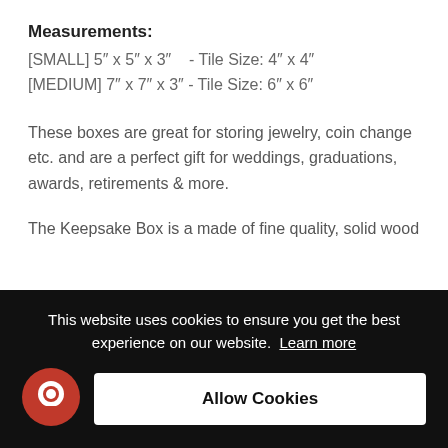Measurements:
[SMALL] 5" x 5" x 3"    - Tile Size: 4" x 4"
[MEDIUM] 7" x 7" x 3" - Tile Size: 6" x 6"
These boxes are great for storing jewelry, coin change etc. and are a perfect gift for weddings, graduations, awards, retirements & more.
The Keepsake Box is a made of fine quality, solid wood
This website uses cookies to ensure you get the best experience on our website.  Learn more
Allow Cookies